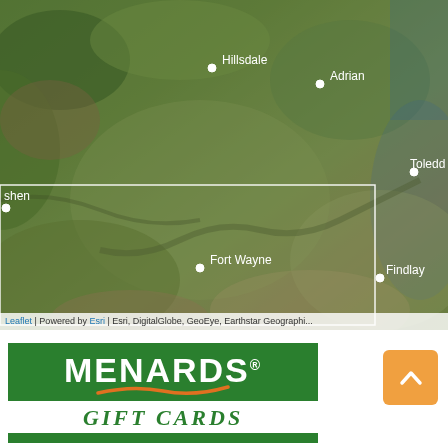[Figure (map): Satellite aerial map showing the region around Fort Wayne, Indiana and Toledo, Ohio, with city labels: Hillsdale, Adrian, Toledo, shen (Goshen), Fort Wayne, Findlay. A white rectangular bounding box overlay is drawn on the map. Attribution bar at the bottom reads: Leaflet | Powered by Esri | Esri, DigitalGlobe, GeoEye, Earthstar Geographi...]
[Figure (logo): Menards logo on a green background with white bold text 'MENARDS' and a registered trademark symbol, an orange swoosh underneath, and text 'GIFT CARDS' in green italic on white below.]